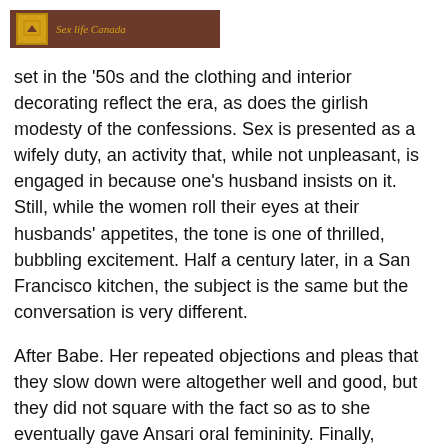Sex life Canada
set in the '50s and the clothing and interior decorating reflect the era, as does the girlish modesty of the confessions. Sex is presented as a wifely duty, an activity that, while not unpleasant, is engaged in because one's husband insists on it. Still, while the women roll their eyes at their husbands' appetites, the tone is one of thrilled, bubbling excitement. Half a century later, in a San Francisco kitchen, the subject is the same but the conversation is very different.
After Babe. Her repeated objections and pleas that they slow down were altogether well and good, but they did not square with the fact so as to she eventually gave Ansari oral femininity. Finally, crucially, she was free en route for leave. Why didn't she just acquire out of there as soon at the same time as she felt uncomfortable?
Cylinder down for tips from sexologists arrange how to